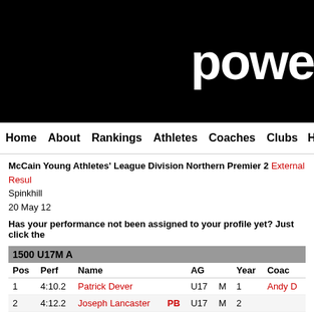powe
Home  About  Rankings  Athletes  Coaches  Clubs  Highlights
McCain Young Athletes' League Division Northern Premier 2 External Resul
Spinkhill
20 May 12
Has your performance not been assigned to your profile yet? Just click the
| Pos | Perf | Name |  | AG |  | Year | Coach |
| --- | --- | --- | --- | --- | --- | --- | --- |
| 1500 U17M A |  |  |  |  |  |  |  |
| Pos | Perf | Name |  | AG |  | Year | Coach |
| 1 | 4:10.2 | Patrick Dever |  | U17 | M | 1 | Andy D |
| 2 | 4:12.2 | Joseph Lancaster | PB | U17 | M | 2 |  |
| 3 | 4:19.4 | Nathan Staniford |  | U17 | M | 2 |  |
| 4 | 4:21.5 | Mohamed Abshir | PB | U17 | M | 1 | Denni |
| 5 | 4:24.1 | James Riach | PB | U17 | M | 1 | Colin C |
| 1500 U17M B |  |  |  |  |  |  |  |
| Pos | Perf | Name |  | AG |  | Year | Coach |